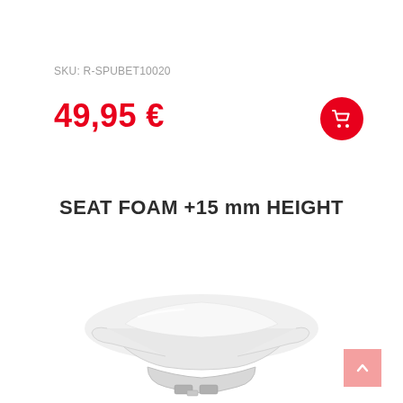SKU: R-SPUBET10020
49,95 €
SEAT FOAM +15 mm HEIGHT
[Figure (photo): Seat foam product photo showing a white ergonomic seat foam cushion viewed from the side/angle, with gray base hardware visible at the bottom.]